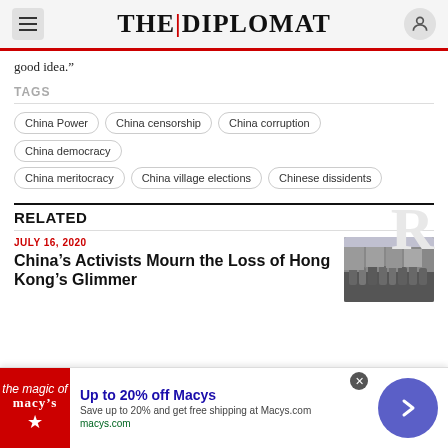THE DIPLOMAT
good idea.”
TAGS
China Power
China censorship
China corruption
China democracy
China meritocracy
China village elections
Chinese dissidents
RELATED
JULY 16, 2020
China’s Activists Mourn the Loss of Hong Kong’s Glimmer
[Figure (photo): Crowd of protesters in Hong Kong street scene]